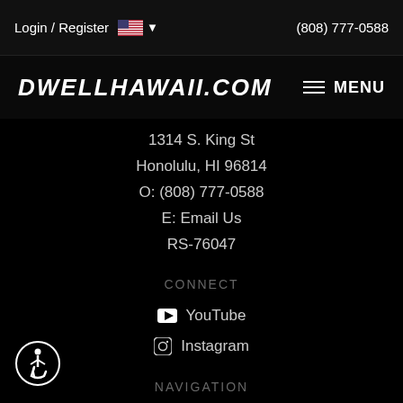Login / Register  (808) 777-0588
DWELLHAWAII.COM
1314 S. King St
Honolulu, HI 96814
O: (808) 777-0588
E: Email Us
RS-76047
CONNECT
YouTube
Instagram
NAVIGATION
Search
Communities
[Figure (illustration): Accessibility icon - person in wheelchair in a circle]